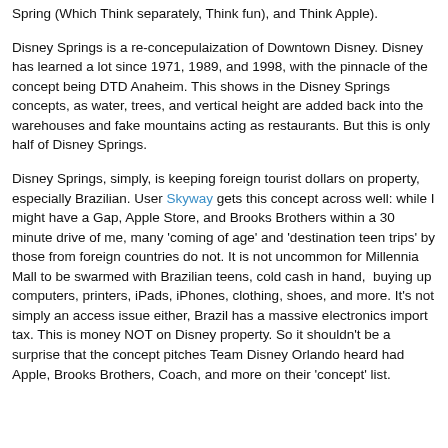Spring (Which Think separately, Think fun), and Think Apple).
Disney Springs is a re-concepulaization of Downtown Disney. Disney has learned a lot since 1971, 1989, and 1998, with the pinnacle of the concept being DTD Anaheim. This shows in the Disney Springs concepts, as water, trees, and vertical height are added back into the warehouses and fake mountains acting as restaurants. But this is only half of Disney Springs.
Disney Springs, simply, is keeping foreign tourist dollars on property, especially Brazilian. User Skyway gets this concept across well: while I might have a Gap, Apple Store, and Brooks Brothers within a 30 minute drive of me, many 'coming of age' and 'destination teen trips' by those from foreign countries do not. It is not uncommon for Millennia Mall to be swarmed with Brazilian teens, cold cash in hand,  buying up computers, printers, iPads, iPhones, clothing, shoes, and more. It's not simply an access issue either, Brazil has a massive electronics import tax. This is money NOT on Disney property. So it shouldn't be a surprise that the concept pitches Team Disney Orlando heard had Apple, Brooks Brothers, Coach, and more on their 'concept' list.